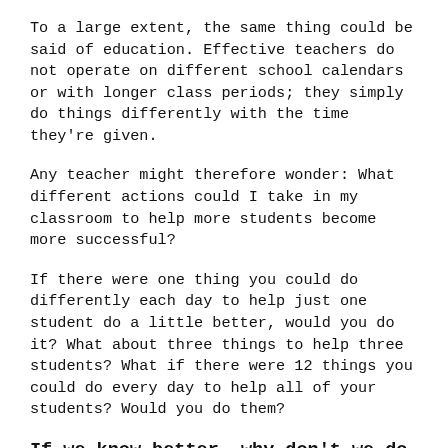To a large extent, the same thing could be said of education. Effective teachers do not operate on different school calendars or with longer class periods; they simply do things differently with the time they're given.
Any teacher might therefore wonder: What different actions could I take in my classroom to help more students become more successful?
If there were one thing you could do differently each day to help just one student do a little better, would you do it? What about three things to help three students? What if there were 12 things you could do every day to help all of your students? Would you do them?
If we know better, why don't we do better?
Since we think we know about teaching, questions like